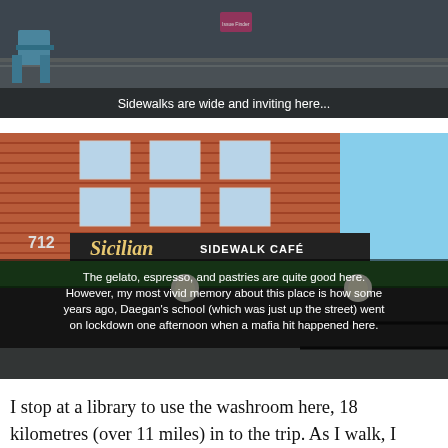[Figure (photo): Outdoor sidewalk scene with a wide, inviting sidewalk and a blue chair visible on the left. Dark/grey tones.]
Sidewalks are wide and inviting here...
[Figure (photo): Exterior of the Sicilian Sidewalk Café at 712, a brick building with a green awning, globe lights, and signage. Blue sky visible on right side.]
The gelato, espresso, and pastries are quite good here. However, my most vivid memory about this place is how some years ago, Daegan's school (which was just up the street) went on lockdown one afternoon when a mafia hit happened here.
I stop at a library to use the washroom here, 18 kilometres (over 11 miles) in to the trip. As I walk, I